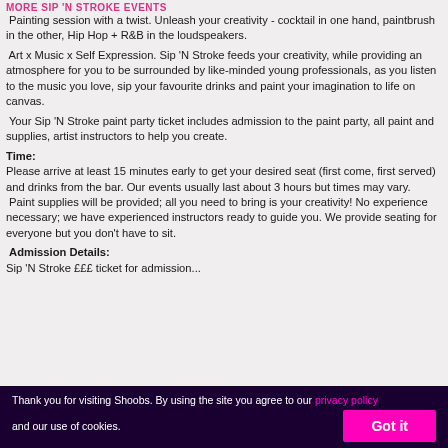MORE SIP 'N STROKE EVENTS
Painting session with a twist. Unleash your creativity - cocktail in one hand, paintbrush in the other, Hip Hop + R&B in the loudspeakers.
 Art x Music x Self Expression. Sip 'N Stroke feeds your creativity, while providing an atmosphere for you to be surrounded by like-minded young professionals, as you listen to the music you love, sip your favourite drinks and paint your imagination to life on canvas.
 Your Sip 'N Stroke paint party ticket includes admission to the paint party, all paint and supplies, artist instructors to help you create.
Time:
Please arrive at least 15 minutes early to get your desired seat (first come, first served) and drinks from the bar. Our events usually last about 3 hours but times may vary.
 Paint supplies will be provided; all you need to bring is your creativity! No experience necessary; we have experienced instructors ready to guide you. We provide seating for everyone but you don't have to sit.
Admission Details:
Sip 'N Stroke £££ ticket for admission...
Thank you for visiting Shoobs. By using the site you agree to our privacy policy and our use of cookies. Got it